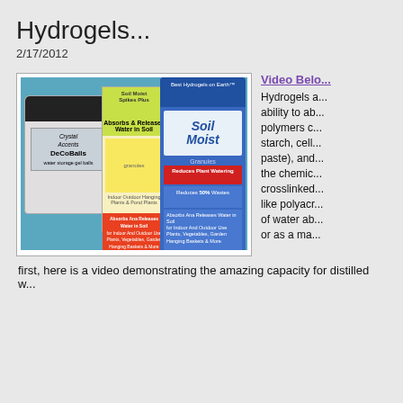Hydrogels...
2/17/2012
[Figure (photo): Photo of three hydrogel products: Crystal Accents Deco Balls jar, Soil Moist Plus Spikes packet, and Soil Moist Granules large bag, arranged on a blue surface.]
Video Belo...
Hydrogels a... ability to ab... polymers c... starch, cell... paste), and... the chemic... crosslinked... like polyacr... of water ab... or as a ma...
first, here is a video demonstrating the amazing capacity for distilled w...